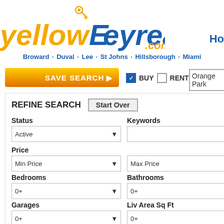[Figure (logo): yellowkeyrealty.com logo with key icon above capital E, yellow and blue text]
Ho
Broward · Duval · Lee · St Johns · Hillsborough · Miami
[Figure (screenshot): SAVE SEARCH button with orange gradient]
BUY  RENT  Orange Park
REFINE SEARCH   Start Over
Status
Active
Keywords
Price
Min Price
Max Price
Bedrooms
Bathrooms
0+
0+
Garages
Liv Area Sq Ft
0+
0+
Min Year
Max Year